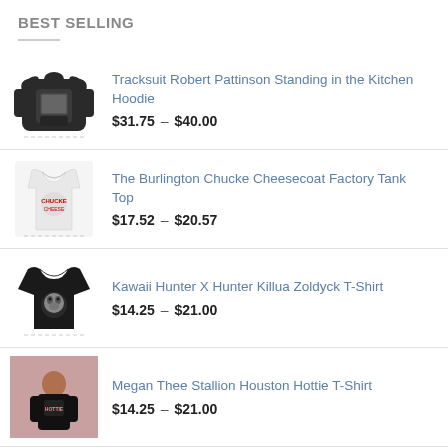BEST SELLING
Tracksuit Robert Pattinson Standing in the Kitchen Hoodie
$31.75 – $40.00
The Burlington Chucke Cheesecoat Factory Tank Top
$17.52 – $20.57
Kawaii Hunter X Hunter Killua Zoldyck T-Shirt
$14.25 – $21.00
Megan Thee Stallion Houston Hottie T-Shirt
$14.25 – $21.00
Super Slimey Future Tank Top
$17.52 – $20.57